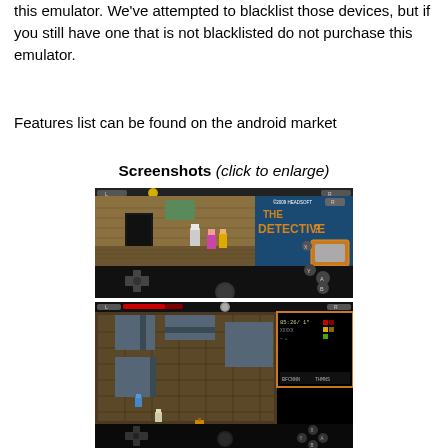this emulator. We've attempted to blacklist those devices, but if you still have one that is not blacklisted do not purchase this emulator.
Features list can be found on the android market
Screenshots (click to enlarge)
[Figure (screenshot): Screenshot of a GBA emulator running 'The Detective' game showing game screen and touch controls on black background]
[Figure (screenshot): Screenshot of a GBA emulator running a dungeon/RPG game showing game screen and touch controls on black background]